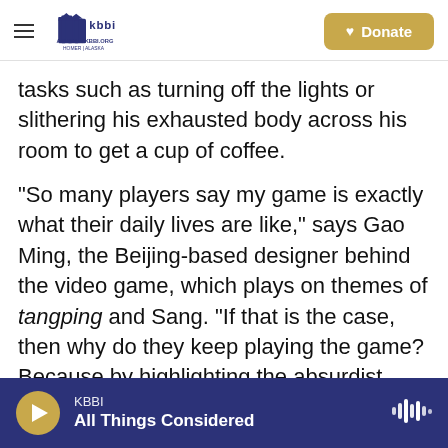KBBI AM 890 | KBBI.ORG Homer, Alaska — Donate
tasks such as turning off the lights or slithering his exhausted body across his room to get a cup of coffee.
"So many players say my game is exactly what their daily lives are like," says Gao Ming, the Beijing-based designer behind the video game, which plays on themes of tangping and Sang. "If that is the case, then why do they keep playing the game? Because by highlighting the absurdist nature of your exhausting lifestyle, the game lets you separate yourself from the day-in, day-out routine."
KBBI — All Things Considered